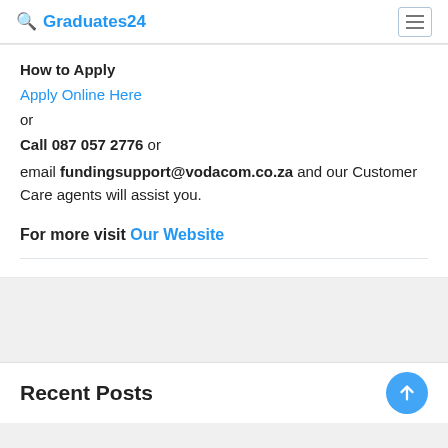Graduates24
How to Apply
Apply Online Here
or
Call 087 057 2776 or
email fundingsupport@vodacom.co.za and our Customer Care agents will assist you.
For more visit Our Website
Recent Posts